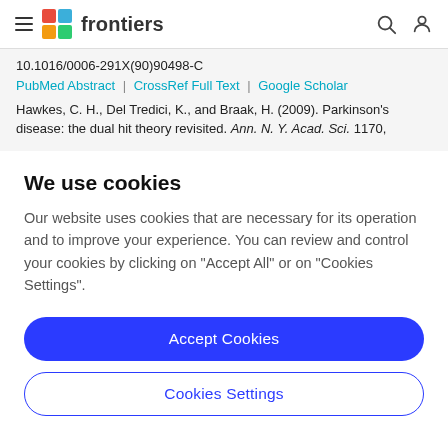frontiers
10.1016/0006-291X(90)90498-C
PubMed Abstract | CrossRef Full Text | Google Scholar
Hawkes, C. H., Del Tredici, K., and Braak, H. (2009). Parkinson’s disease: the dual hit theory revisited. Ann. N. Y. Acad. Sci. 1170,
We use cookies
Our website uses cookies that are necessary for its operation and to improve your experience. You can review and control your cookies by clicking on “Accept All” or on “Cookies Settings”.
Accept Cookies
Cookies Settings